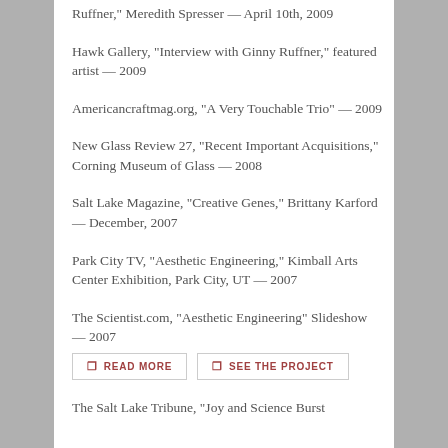Ruffner," Meredith Spresser — April 10th, 2009
Hawk Gallery, "Interview with Ginny Ruffner," featured artist — 2009
Americancraftmag.org, "A Very Touchable Trio" — 2009
New Glass Review 27, "Recent Important Acquisitions," Corning Museum of Glass — 2008
Salt Lake Magazine, "Creative Genes," Brittany Karford — December, 2007
Park City TV, "Aesthetic Engineering," Kimball Arts Center Exhibition, Park City, UT — 2007
The Scientist.com, "Aesthetic Engineering" Slideshow — 2007
READ MORE | SEE THE PROJECT
The Salt Lake Tribune, "Joy and Science Burst